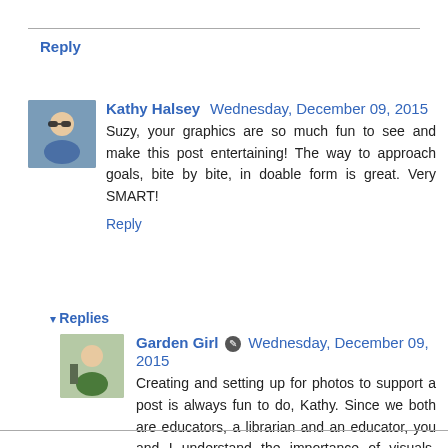Reply
Kathy Halsey  Wednesday, December 09, 2015
Suzy, your graphics are so much fun to see and make this post entertaining! The way to approach goals, bite by bite, in doable form is great. Very SMART!
Reply
Replies
Garden Girl  Wednesday, December 09, 2015
Creating and setting up for photos to support a post is always fun to do, Kathy. Since we both are educators, a librarian and an educator, you and I understand the importance of visuals. ~Prairie Garden Girl